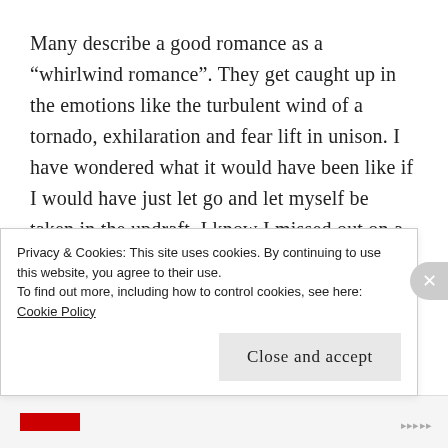Many describe a good romance as a "whirlwind romance". They get caught up in the emotions like the turbulent wind of a tornado, exhilaration and fear lift in unison. I have wondered what it would have been like if I would have just let go and let myself be taken in the updraft. I know I missed out on a passionate experience that could have broken my heart but that’s always a part of falling in love. Falling in love means letting go and losing that control. Why didn’t I see that great highs always come with the possibilities of crushing lows?
Privacy & Cookies: This site uses cookies. By continuing to use this website, you agree to their use.
To find out more, including how to control cookies, see here: Cookie Policy
Close and accept